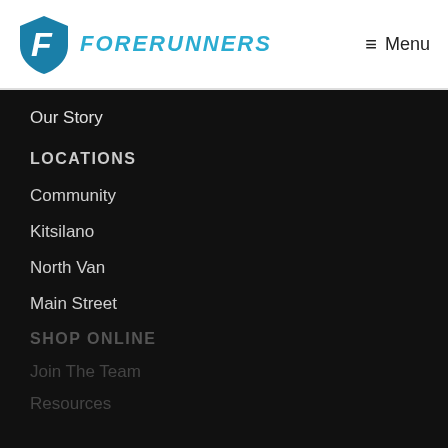[Figure (logo): Forerunners logo: blue shield with F letter and bold italic FORERUNNERS text in teal/cyan]
≡ Menu
Our Story
LOCATIONS
Community
Kitsilano
North Van
Main Street
SHOP ONLINE
Join The Team
Resources